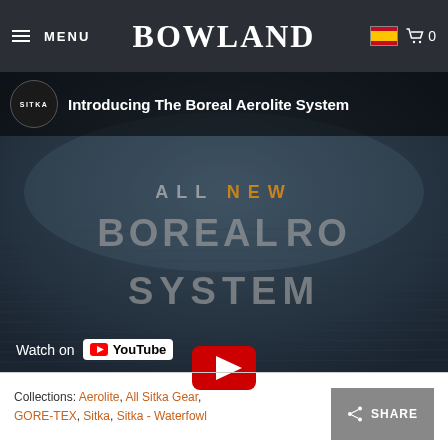MENU | BOWLAND | 0
[Figure (screenshot): YouTube video thumbnail for 'Introducing The Boreal Aerolite System' by Sitka. Dark water/landscape background with overlaid text: ALL NEW BOREAL [YouTube play button] RO SYSTEM. Watch on YouTube link at bottom.]
Collections: Aerolite, All Sitka Gear, GORE-TEX, Sitka, Sitka - Waterfowl
SHARE